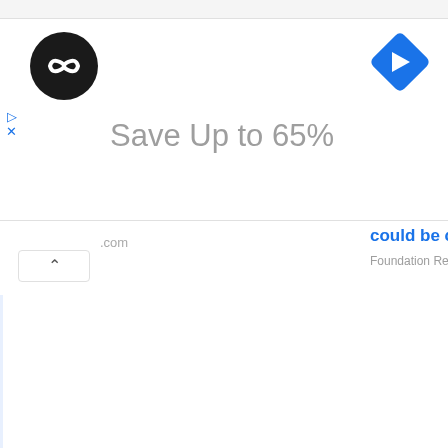[Figure (logo): Black circular logo with white infinity-like symbol (two overlapping loops)]
[Figure (logo): Blue diamond/rhombus shaped navigation icon with white right-turn arrow]
Save Up to 65%
.com
could be cheaper than you th
Foundation Repair | Search Ads